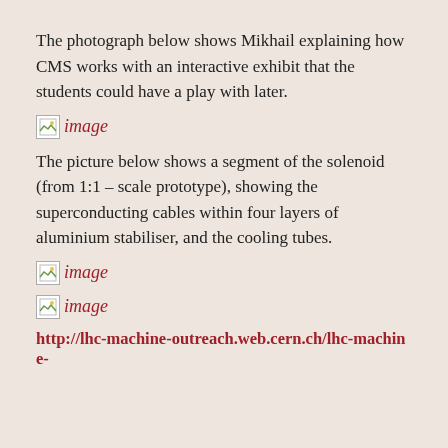The photograph below shows Mikhail explaining how CMS works with an interactive exhibit that the students could have a play with later.
[Figure (photo): Broken image placeholder labeled 'image']
The picture below shows a segment of the solenoid (from 1:1 – scale prototype), showing the superconducting cables within four layers of aluminium stabiliser, and the cooling tubes.
[Figure (photo): Broken image placeholder labeled 'image']
[Figure (photo): Broken image placeholder labeled 'image']
http://lhc-machine-outreach.web.cern.ch/lhc-machine-